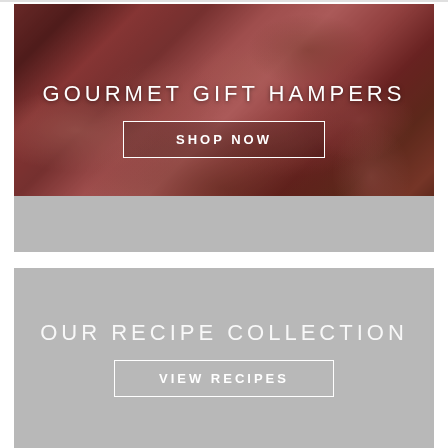[Figure (photo): Close-up photo of raw meat cuts (beef steaks/fillets) on a dark wooden surface, with rich red-pink tones and marbling visible.]
GOURMET GIFT HAMPERS
SHOP NOW
[Figure (illustration): Gray placeholder banner section below the meat photo.]
OUR RECIPE COLLECTION
VIEW RECIPES